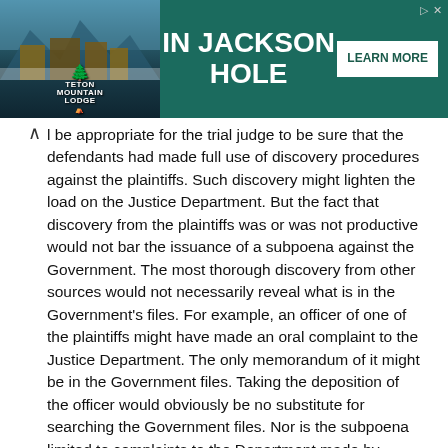[Figure (other): Advertisement banner for Teton Mountain Lodge in Jackson Hole with a 'LEARN MORE' button on a dark teal background.]
l be appropriate for the trial judge to be sure that the defendants had made full use of discovery procedures against the plaintiffs. Such discovery might lighten the load on the Justice Department. But the fact that discovery from the plaintiffs was or was not productive would not bar the issuance of a subpoena against the Government. The most thorough discovery from other sources would not necessarily reveal what is in the Government's files. For example, an officer of one of the plaintiffs might have made an oral complaint to the Justice Department. The only memorandum of it might be in the Government files. Taking the deposition of the officer would obviously be no substitute for searching the Government files. Nor is the subpoena limited to complaints to the Department made by plaintiffs
9
Some other courts took a narrower view of the privilege (see,e. g., United States v. Krulewitch, 145 F.2d 76, 156 A.L.R. 337 (2d Cir. 1944, per L. Hand, J.), but it was not until Roviaro that the informer's privilege received a thorough reexamination.